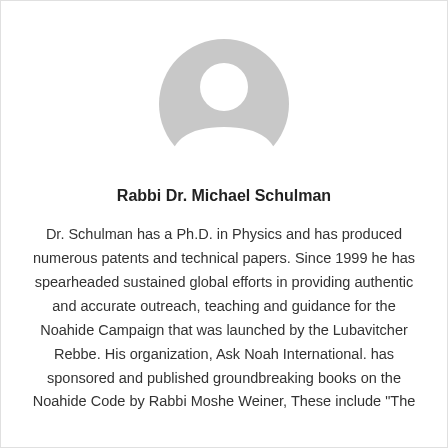[Figure (illustration): Gray placeholder avatar icon showing a generic person silhouette (head and shoulders) in a circle]
Rabbi Dr. Michael Schulman
Dr. Schulman has a Ph.D. in Physics and has produced numerous patents and technical papers. Since 1999 he has spearheaded sustained global efforts in providing authentic and accurate outreach, teaching and guidance for the Noahide Campaign that was launched by the Lubavitcher Rebbe. His organization, Ask Noah International. has sponsored and published groundbreaking books on the Noahide Code by Rabbi Moshe Weiner, These include "The